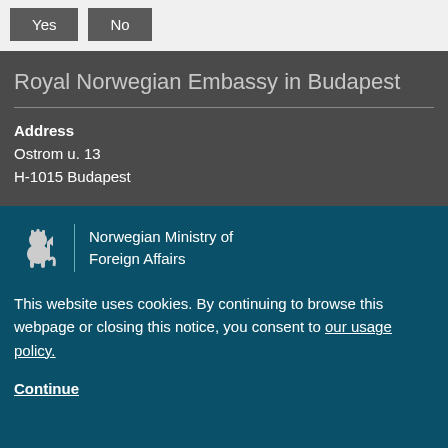Yes  No
Royal Norwegian Embassy in Budapest
Address
Ostrom u. 13
H-1015 Budapest
[Figure (logo): Norwegian lion crest logo with vertical divider and text: Norwegian Ministry of Foreign Affairs]
This website uses cookies. By continuing to browse this webpage or closing this notice, you consent to our usage policy.
Continue